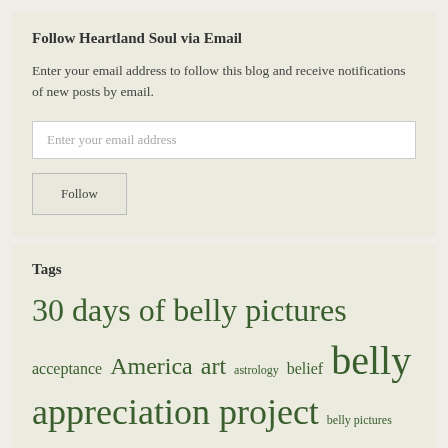Follow Heartland Soul via Email
Enter your email address to follow this blog and receive notifications of new posts by email.
Enter your email address
Follow
Tags
30 days of belly pictures acceptance America art astrology belief belly appreciation project belly pictures body image calling capitalism change chant